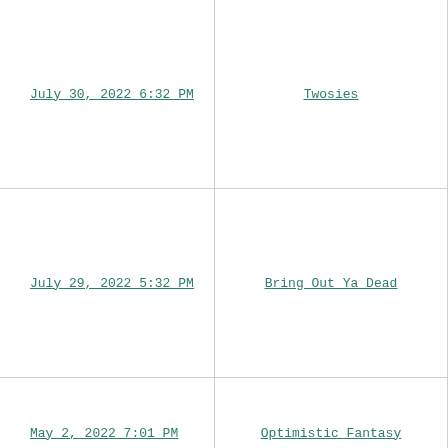July 30, 2022 6:32 PM
Twosies
July 29, 2022 5:32 PM
Bring Out Ya Dead
May 2, 2022 7:01 PM
Optimistic Fantasy